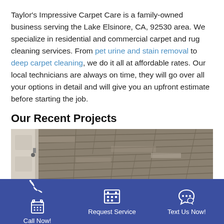Taylor's Impressive Carpet Care is a family-owned business serving the Lake Elsinore, CA, 92530 area. We specialize in residential and commercial carpet and rug cleaning services. From pet urine and stain removal to deep carpet cleaning, we do it all at affordable rates. Our local technicians are always on time, they will go over all your options in detail and will give you an upfront estimate before starting the job.
Our Recent Projects
[Figure (photo): Photo of a room with grey/brown wood-look vinyl plank flooring viewed from a doorway, showing a white door frame on the left.]
Call Now! | Request Service | Text Us Now!